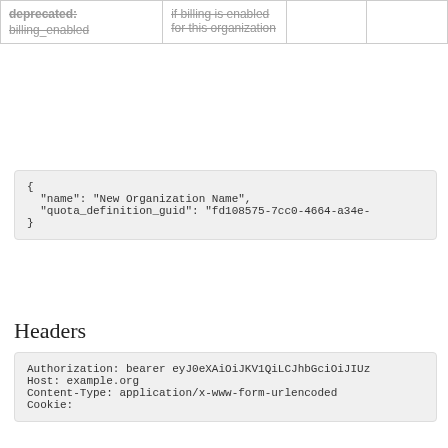| deprecated: | if billing is enabled for this organization |  |  |
| --- | --- | --- | --- |
| billing_enabled | enabled for this organization |  |  |
{
  "name": "New Organization Name",
  "quota_definition_guid": "fd108575-7cc0-4664-a34e-
}
Headers
Authorization: bearer eyJ0eXAiOiJKV1QiLCJhbGciOiJIUz
Host: example.org
Content-Type: application/x-www-form-urlencoded
Cookie:
cURL
curl "https://api.[your-domain.com]/v2/organizations
  "name": "New Organization Name",
  "quota_definition_guid": "fd108575-7cc0-4664-a34e-
-X PUT \